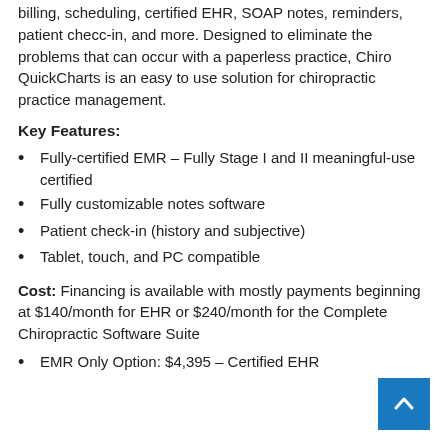billing, scheduling, certified EHR, SOAP notes, reminders, patient checc-in, and more. Designed to eliminate the problems that can occur with a paperless practice, Chiro QuickCharts is an easy to use solution for chiropractic practice management.
Key Features:
Fully-certified EMR – Fully Stage I and II meaningful-use certified
Fully customizable notes software
Patient check-in (history and subjective)
Tablet, touch, and PC compatible
Cost: Financing is available with mostly payments beginning at $140/month for EHR or $240/month for the Complete Chiropractic Software Suite
EMR Only Option: $4,395 – Certified EHR